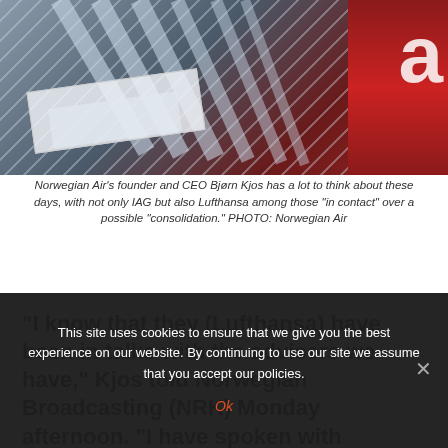[Figure (photo): Photo of luggage conveyor belt / baggage handling equipment with red background element on the right side, partially showing a large letter 'a' — associated with Norwegian Air branding.]
Norwegian Air's founder and CEO Bjørn Kjos has a lot to think about these days, with not only IAG but also Lufthansa among those "in contact" over a possible "consolidation." PHOTO: Norwegian Air
"I know that they (Lufthansa) have been in talks with the advisers we have," Kjos told Norwegian Broadcasting (NRK) Monday afternoon. "I have spoken with Carsten Spohr (Lufthansa's CEO) myself, he's a very nice guy. I have texted
This site uses cookies to ensure that we give you the best experience on our website. By continuing to use our site we assume that you accept our policies.
Ok